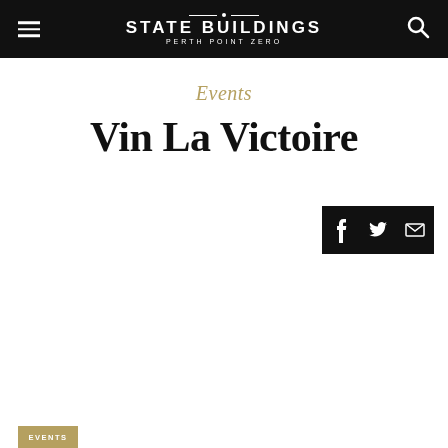STATE BUILDINGS · PERTH POINT ZERO
Events
Vin La Victoire
[Figure (infographic): Social share buttons bar with Facebook, Twitter, and email icons on a black background]
EVENTS